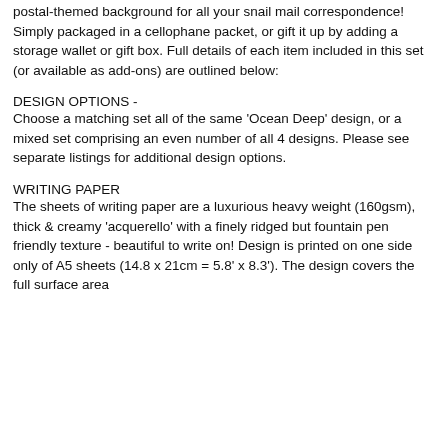postal-themed background for all your snail mail correspondence! Simply packaged in a cellophane packet, or gift it up by adding a storage wallet or gift box. Full details of each item included in this set (or available as add-ons) are outlined below:
DESIGN OPTIONS -
Choose a matching set all of the same 'Ocean Deep' design, or a mixed set comprising an even number of all 4 designs. Please see separate listings for additional design options.
WRITING PAPER
The sheets of writing paper are a luxurious heavy weight (160gsm), thick & creamy 'acquerello' with a finely ridged but fountain pen friendly texture - beautiful to write on! Design is printed on one side only of A5 sheets (14.8 x 21cm = 5.8' x 8.3'). The design covers the full surface area